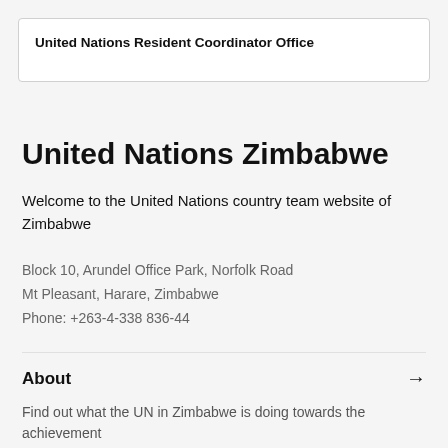United Nations Resident Coordinator Office
United Nations Zimbabwe
Welcome to the United Nations country team website of Zimbabwe
Block 10, Arundel Office Park, Norfolk Road
Mt Pleasant, Harare, Zimbabwe
Phone: +263-4-338 836-44
About
Find out what the UN in Zimbabwe is doing towards the achievement